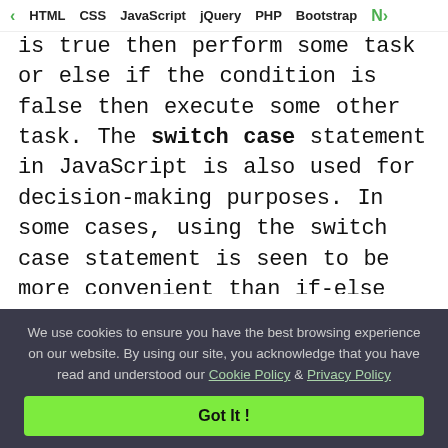< HTML  CSS  JavaScript  jQuery  PHP  Bootstrap  N>
is true then perform some task or else if the condition is false then execute some other task. The switch case statement in JavaScript is also used for decision-making purposes. In some cases, using the switch case statement is seen to be more convenient than if-else statements. Consider a situation when we want to test a variable for hundred different values and based on the test we want to execute some task. Using if-else statements for this purpose will be less efficient than switch-case statements and also it
We use cookies to ensure you have the best browsing experience on our website. By using our site, you acknowledge that you have read and understood our Cookie Policy & Privacy Policy
Got It !